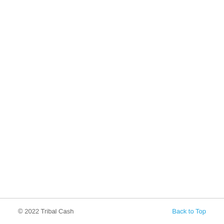© 2022 Tribal Cash    Back to Top